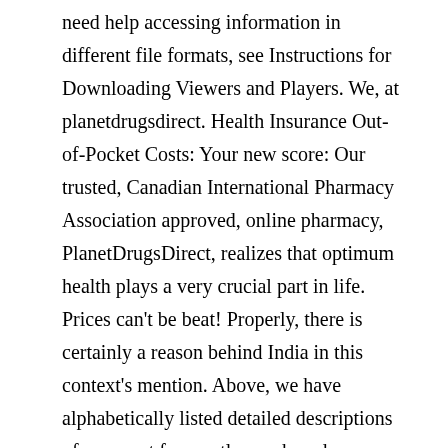need help accessing information in different file formats, see Instructions for Downloading Viewers and Players. We, at planetdrugsdirect. Health Insurance Out-of-Pocket Costs: Your new score: Our trusted, Canadian International Pharmacy Association approved, online pharmacy, PlanetDrugsDirect, realizes that optimum health plays a very crucial part in life. Prices can't be beat! Properly, there is certainly a reason behind India in this context's mention. Above, we have alphabetically listed detailed descriptions of our most frequently purchased prescription drugs online. Commonly observed side effects are low blood pressure, and water and electrolyte depletion. Our team of dedicated professionals strive to make your online experience as quick and pleasant as possible. Lacie Glover. Any comments posted under NerdWallet's official account are not reviewed or endorsed by representatives of financial institutions affiliated with the reviewed products, unless explicitly stated